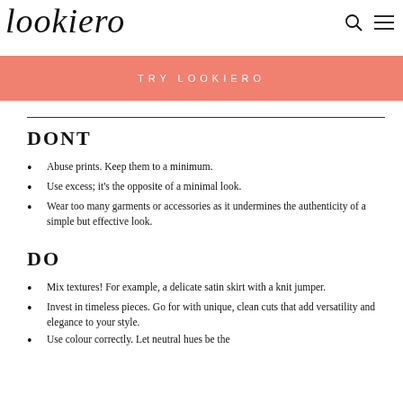lookiero
TRY LOOKIERO
DONT
Abuse prints. Keep them to a minimum.
Use excess; it's the opposite of a minimal look.
Wear too many garments or accessories as it undermines the authenticity of a simple but effective look.
DO
Mix textures! For example, a delicate satin skirt with a knit jumper.
Invest in timeless pieces. Go for with unique, clean cuts that add versatility and elegance to your style.
Use colour correctly. Let neutral hues be the